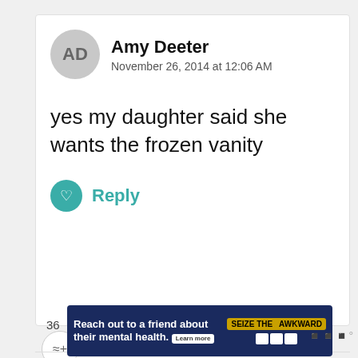AD
Amy Deeter
November 26, 2014 at 12:06 AM
yes my daughter said she wants the frozen vanity
Reply
36
Jill Myrick
November 25, 2014 at 08:38 PM
WHAT'S NEXT → Boys Holiday Gift Guide...
Reach out to a friend about their mental health. Learn more  SEIZE THE AWKWARD